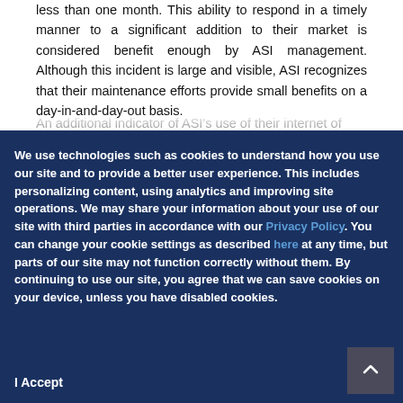less than one month. This ability to respond in a timely manner to a significant addition to their market is considered benefit enough by ASI management. Although this incident is large and visible, ASI recognizes that their maintenance efforts provide small benefits on a day-in-and-day-out basis.
An additional indicator of ASI's use of their internet of
We use technologies such as cookies to understand how you use our site and to provide a better user experience. This includes personalizing content, using analytics and improving site operations. We may share your information about your use of our site with third parties in accordance with our Privacy Policy. You can change your cookie settings as described here at any time, but parts of our site may not function correctly without them. By continuing to use our site, you agree that we can save cookies on your device, unless you have disabled cookies.
I Accept